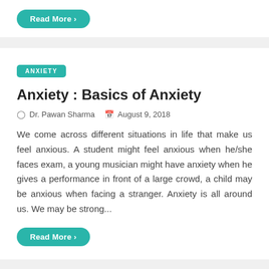Read More ›
ANXIETY
Anxiety : Basics of Anxiety
Dr. Pawan Sharma   August 9, 2018
We come across different situations in life that make us feel anxious. A student might feel anxious when he/she faces exam, a young musician might have anxiety when he gives a performance in front of a large crowd, a child may be anxious when facing a stranger. Anxiety is all around us. We may be strong...
Read More ›